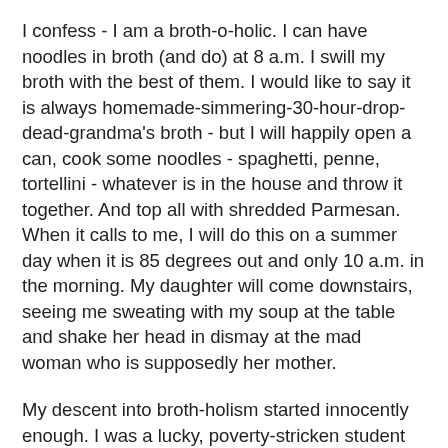I confess - I am a broth-o-holic. I can have noodles in broth (and do) at 8 a.m. I swill my broth with the best of them. I would like to say it is always homemade-simmering-30-hour-drop-dead-grandma's broth - but I will happily open a can, cook some noodles - spaghetti, penne, tortellini - whatever is in the house and throw it together. And top all with shredded Parmesan. When it calls to me, I will do this on a summer day when it is 85 degrees out and only 10 a.m. in the morning. My daughter will come downstairs, seeing me sweating with my soup at the table and shake her head in dismay at the mad woman who is supposedly her mother.
My descent into broth-holism started innocently enough. I was a lucky, poverty-stricken student studying in Austria. The school took us on a whirlwind tour of Italy. What's not to like? But by the time we got to Rome and had seen 112 churches and the bones of as many saints, we were eager to have some time on our own. And we did - in Rome.
Being poverty-stricken, (to figure out my age - let it be known I did do Europe on $5/day and never camped outside ... well,